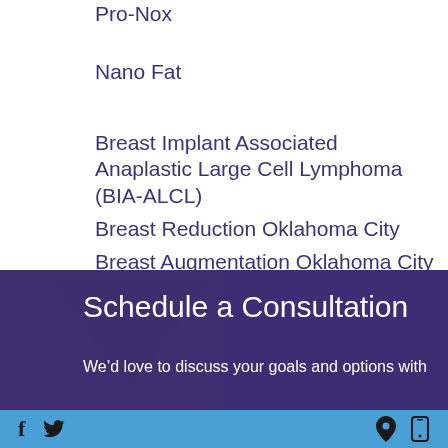Pro-Nox
Nano Fat
Breast Implant Associated Anaplastic Large Cell Lymphoma (BIA-ALCL)
Breast Reduction Oklahoma City
Breast Augmentation Oklahoma City
[Figure (photo): Purple background with consultation section banner]
Schedule a Consultation
We’d love to discuss your goals and options with
Social media icons (Facebook, Twitter) on left; location and phone icons on right